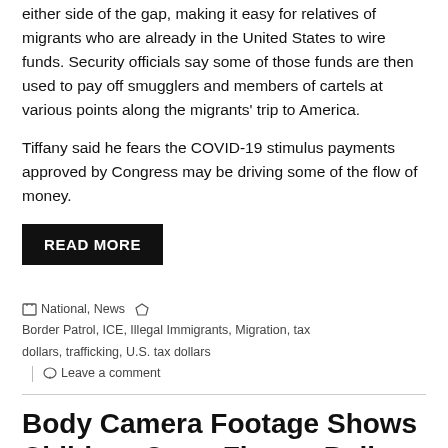either side of the gap, making it easy for relatives of migrants who are already in the United States to wire funds. Security officials say some of those funds are then used to pay off smugglers and members of cartels at various points along the migrants' trip to America.
Tiffany said he fears the COVID-19 stimulus payments approved by Congress may be driving some of the flow of money.
READ MORE
National, News   Border Patrol, ICE, Illegal Immigrants, Migration, tax dollars, trafficking, U.S. tax dollars   Leave a comment
Body Camera Footage Shows Children Open Fire on Police
June 5, 2021   Georgia Star News Staff
[Figure (photo): Dark/night-time outdoor photo with body camera timestamp overlay, showing a building with trees]
Two children who escaped from a children's home broke into a house, stole firearms and